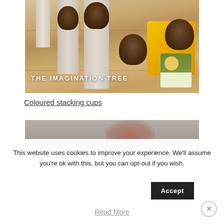[Figure (photo): Photo of cardboard tubes with pine cones on a wooden table surface, with a yellow egg carton visible on the right. Watermark text reads 'THE IMAGINATION TREE'.]
Coloured stacking cups
[Figure (photo): Partial photo visible below the link text, appears to show a blurred activity scene.]
This website uses cookies to improve your experience. We'll assume you're ok with this, but you can opt-out if you wish.
Read More